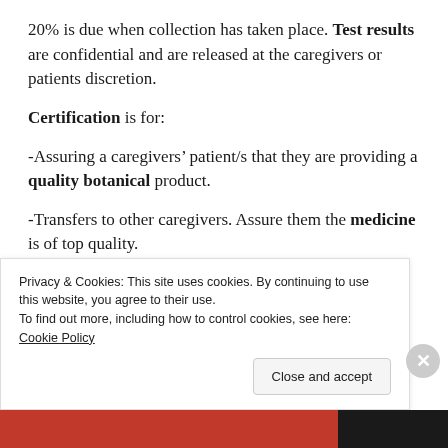20% is due when collection has taken place. Test results are confidential and are released at the caregivers or patients discretion.
Certification is for:
-Assuring a caregivers’ patient/s that they are providing a quality botanical product.
-Transfers to other caregivers. Assure them the medicine is of top quality.
-Releasing a new variety/cultivar/strain to
Privacy & Cookies: This site uses cookies. By continuing to use this website, you agree to their use.
To find out more, including how to control cookies, see here: Cookie Policy
Close and accept